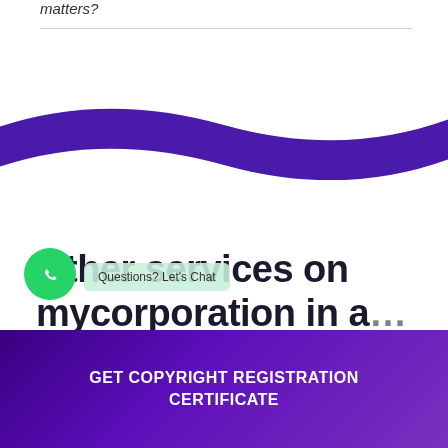matters?
[Figure (illustration): Decorative purple wave/ribbon band across the page]
Other services on mycorporation in a...nrai
Questions? Let's Chat
GET COPYRIGHT REGISTRATION CERTIFICATE